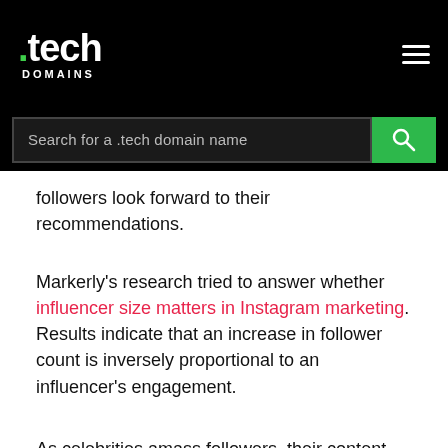.tech DOMAINS
Search for a .tech domain name
followers look forward to their recommendations.
Markerly's research tried to answer whether influencer size matters in Instagram marketing. Results indicate that an increase in follower count is inversely proportional to an influencer's engagement.
As celebrities amass followers, their content runs the risk of being less and less relevant to their broad fan base.